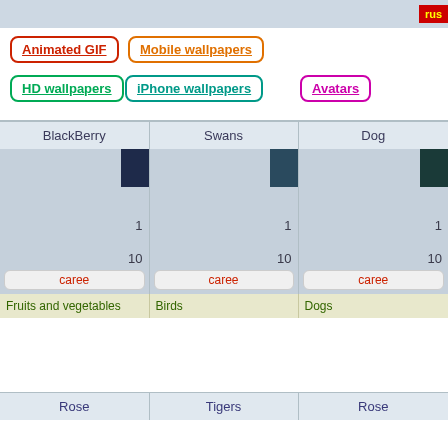rus
Animated GIF
Mobile wallpapers
HD wallpapers
iPhone wallpapers
Avatars
| BlackBerry | Swans | Dog |
| --- | --- | --- |
| 1 | 1 | 1 |
| 10 | 10 | 10 |
| caree | caree | caree |
| Fruits and vegetables | Birds | Dogs |
| Rose | Tigers | Rose |
| --- | --- | --- |